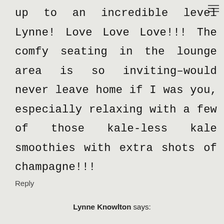up to an incredible level Lynne! Love Love Love!!! The comfy seating in the lounge area is so inviting–would never leave home if I was you, especially relaxing with a few of those kale-less kale smoothies with extra shots of champagne!!!
Reply
Lynne Knowlton says: